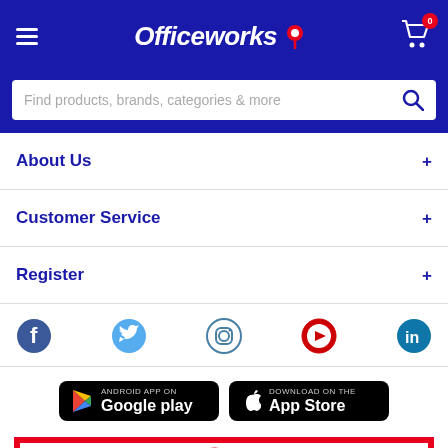[Figure (screenshot): Officeworks website header with hamburger menu, Officeworks logo with pushpin icon, and shopping cart with badge showing 0]
Find products, brands, categories & more
About Us
Customer Service
Register
[Figure (infographic): Social media icons: Facebook, Twitter, Instagram, YouTube, LinkedIn]
[Figure (infographic): App store download buttons: ANDROID APP ON Google play and Download on the App Store]
[Figure (infographic): Partial red border banner with large red letters 'LOW' partially visible at bottom of page]